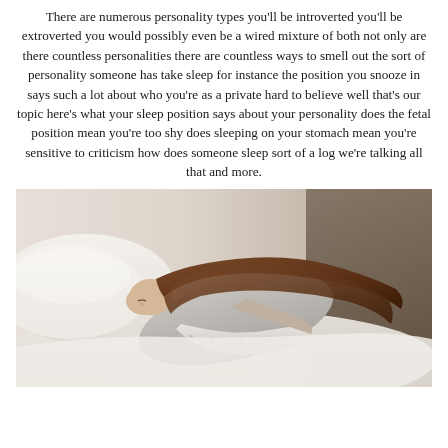There are numerous personality types you'll be introverted you'll be extroverted you would possibly even be a wired mixture of both not only are there countless personalities there are countless ways to smell out the sort of personality someone has take sleep for instance the position you snooze in says such a lot about who you're as a private hard to believe well that's our topic here's what your sleep position says about your personality does the fetal position mean you're too shy does sleeping on your stomach mean you're sensitive to criticism how does someone sleep sort of a log we're talking all that and more.
[Figure (photo): A woman with long brown hair sleeping in a fetal position on a bed with white/light bedding, wearing a grey top and light patterned pants]